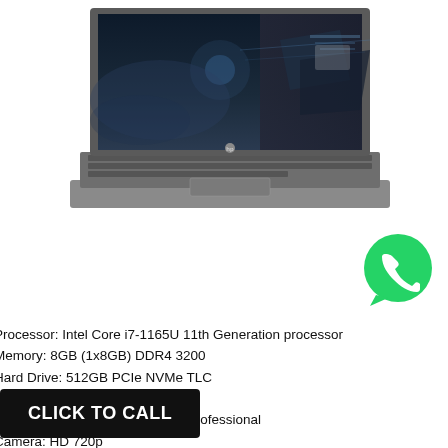[Figure (photo): HP laptop (ZBook) open, showing dark sci-fi wallpaper on screen, silver/grey chassis, viewed from slightly above front angle]
[Figure (logo): WhatsApp green circle logo with white phone handset icon]
Processor: Intel Core i7-1165U 11th Generation processor
Memory: 8GB (1x8GB) DDR4 3200
Hard Drive: 512GB PCIe NVMe TLC
Graphics: Intel Iris Xe Graphics
Operating System: Windows 10 Professional
Camera: HD 720p
Display: LCD 14 FHD AG LED UWVA
Port: WLAN + BT
Range:
Warranty:
CLICK TO CALL